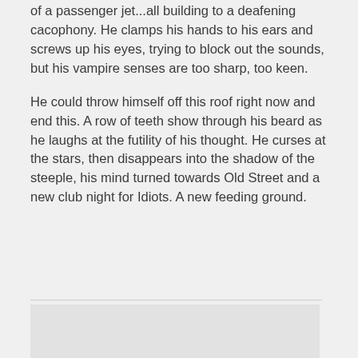of a passenger jet...all building to a deafening cacophony. He clamps his hands to his ears and screws up his eyes, trying to block out the sounds, but his vampire senses are too sharp, too keen.
He could throw himself off this roof right now and end this. A row of teeth show through his beard as he laughs at the futility of his thought. He curses at the stars, then disappears into the shadow of the steeple, his mind turned towards Old Street and a new club night for Idiots. A new feeding ground.